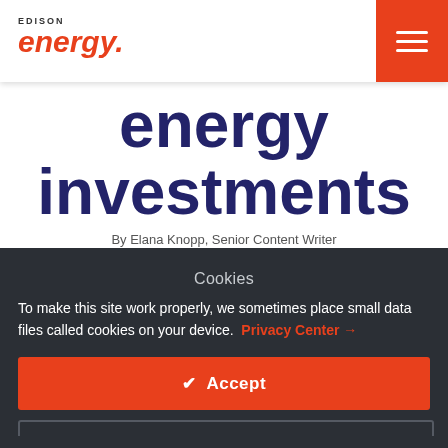EDISON energy.
energy investments
By Elana Knopp, Senior Content Writer
Cookies
To make this site work properly, we sometimes place small data files called cookies on your device. Privacy Center →
✔ Accept
Cookies Settings ⚙